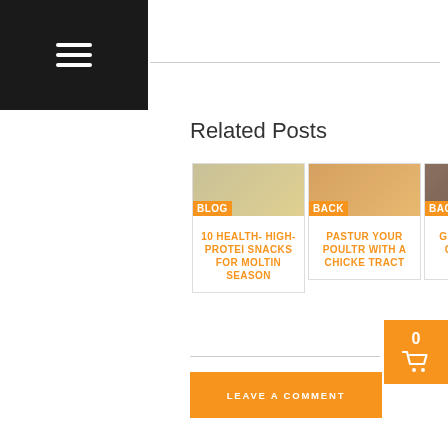≡ (hamburger menu icon)
Related Posts
[Figure (illustration): Card 1: Blog category badge, thumbnail image. Title: 10 HEALTHY HIGH-PROTEIN SNACKS FOR MOLTING SEASON]
[Figure (illustration): Card 2: Back category badge, thumbnail image. Title: PASTURE YOUR POULTRY WITH A CHICKEN TRACTOR]
[Figure (illustration): Card 3: Back category badge, thumbnail image. Title: GOT FLEAS? 13 CHICKEN FLEA FACTS]
[Figure (illustration): Card 4: Blog category badge, thumbnail image. Title: CHRISTMAS CHICKEN WRAPPED PAPER AND FREE STENCIL]
[Figure (illustration): Card 5: Blog category badge, thumbnail image. Title: CLEANING YOUR COOP THE NATURAL WAY]
0 (cart with 0 items)
LEAVE A COMMENT